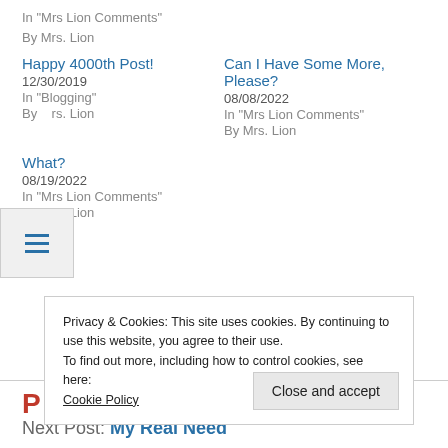In "Mrs Lion Comments"
By Mrs. Lion
Happy 4000th Post!
12/30/2019
In "Blogging"
By Mrs. Lion
Can I Have Some More, Please?
08/08/2022
In "Mrs Lion Comments"
By Mrs. Lion
What?
08/19/2022
In "Mrs Lion Comments"
By Mrs. Lion
Privacy & Cookies: This site uses cookies. By continuing to use this website, you agree to their use.
To find out more, including how to control cookies, see here:
Cookie Policy
Close and accept
P
Next Post: My Real Need